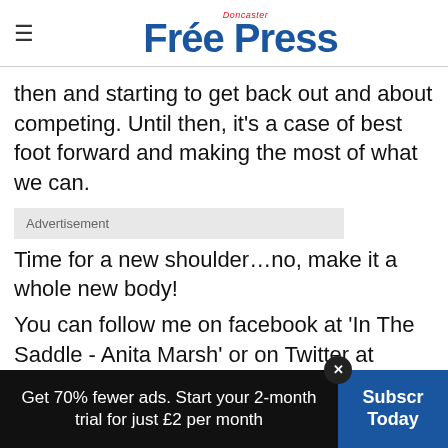Doncaster Free Press
then and starting to get back out and about competing. Until then, it's a case of best foot forward and making the most of what we can.
Advertisement
Time for a new shoulder…no, make it a whole new body!
You can follow me on facebook at 'In The Saddle - Anita Marsh' or on Twitter at @inthesaddleblog. We'd love to hear from you.
Get 70% fewer ads. Start your 2-month trial for just £2 per month  Subscribe Today